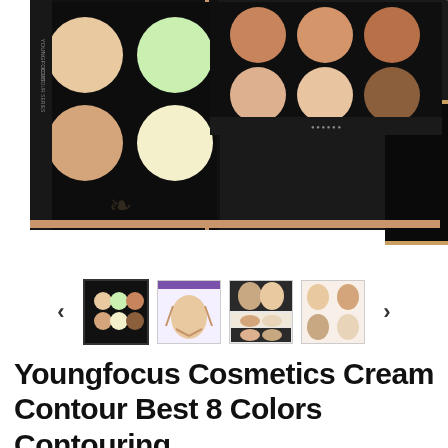[Figure (photo): Product photo of Youngfocus Cosmetics Cream Contour palette open showing 8 color pans (cream contour shades), with a black box packaging labeled 'Contour Series Concealer Serie Contour Cream Kit' by Youngfocus, and a face contouring diagram in the upper right corner.]
[Figure (photo): Row of product thumbnail images: first thumbnail (selected/active with border) shows the palette, second shows face contouring diagram with man's face, third shows before/after makeup photos, fourth shows multiple face photos.]
Youngfocus Cosmetics Cream Contour Best 8 Colors Contouring